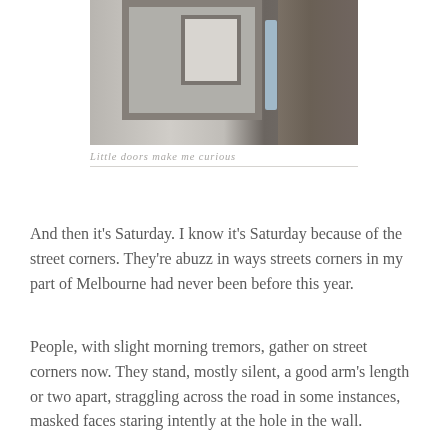[Figure (photo): A small wooden door frame set into a light-colored wall, with a blue drainpipe to the right and weathered dark wood visible on the far right.]
Little doors make me curious
And then it's Saturday. I know it's Saturday because of the street corners. They're abuzz in ways streets corners in my part of Melbourne had never been before this year.
People, with slight morning tremors, gather on street corners now. They stand, mostly silent, a good arm's length or two apart, straggling across the road in some instances, masked faces staring intently at the hole in the wall.